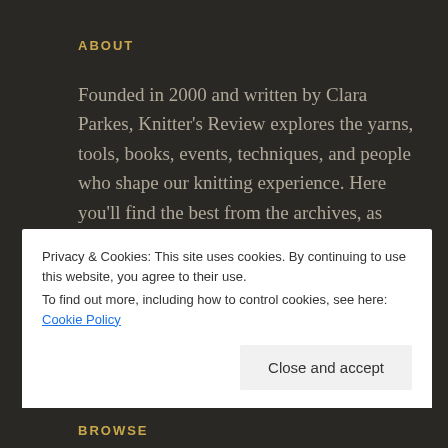ABOUT
Founded in 2000 and written by Clara Parkes, Knitter's Review explores the yarns, tools, books, events, techniques, and people who shape our knitting experience. Here you'll find the best from the archives, as well as current adventures.
Privacy & Cookies: This site uses cookies. By continuing to use this website, you agree to their use.
To find out more, including how to control cookies, see here: Cookie Policy
BROWSE